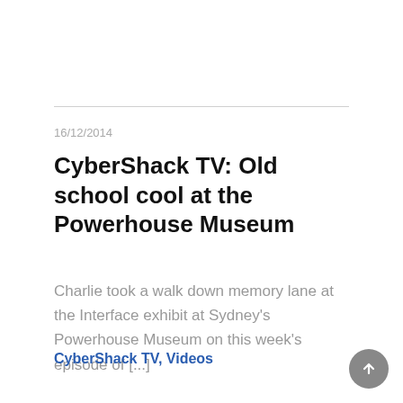16/12/2014
CyberShack TV: Old school cool at the Powerhouse Museum
Charlie took a walk down memory lane at the Interface exhibit at Sydney's Powerhouse Museum on this week's episode of [...]
CyberShack TV, Videos